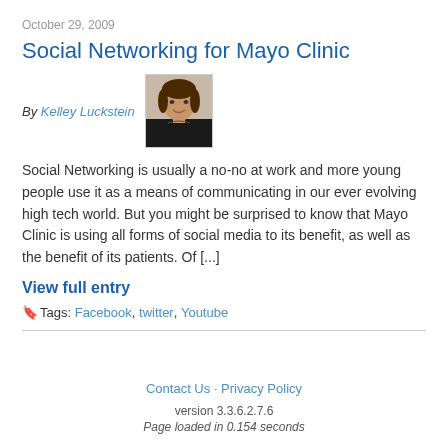October 29, 2009
Social Networking for Mayo Clinic
By Kelley Luckstein
[Figure (photo): Headshot photo of Kelley Luckstein, a woman with dark hair wearing a dark jacket, against a light background.]
Social Networking is usually a no-no at work and more young people use it as a means of communicating in our ever evolving high tech world. But you might be surprised to know that Mayo Clinic is using all forms of social media to its benefit, as well as the benefit of its patients. Of [...]
View full entry
Tags: Facebook, twitter, Youtube
Contact Us · Privacy Policy
version 3.3.6.2.7.6
Page loaded in 0.154 seconds